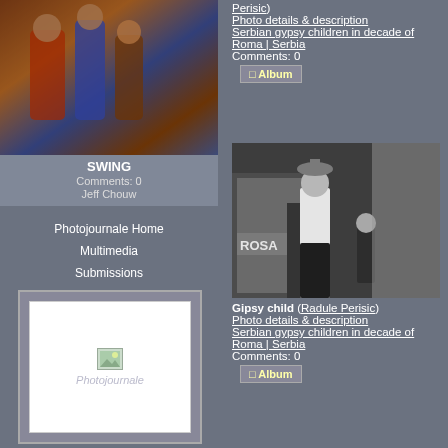[Figure (photo): Color photo of people in colorful clothing, street scene]
SWING
Comments: 0
Jeff Chouw
Photojournale Home
Multimedia
Submissions
Editorial
TCI Emerging Photographers Program
Featured Photographers
Photojournale Daily
Connections Across a Human Planet Book
[Figure (logo): Photojournale logo placeholder]
Perisic)
Photo details & description
Sergian gypsy children in decade of Roma | Serbia
Comments: 0
[Figure (photo): Black and white photo of a gypsy child near storefront with ROSA sign]
Gipsy child (Radule Perisic)
Photo details & description
Sergian gypsy children in decade of Roma | Serbia
Comments: 0